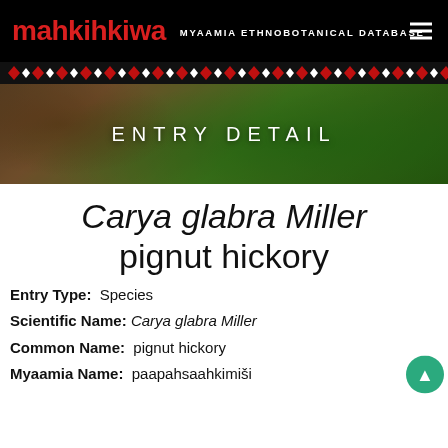mahkihkiwa MYAAMIA ETHNOBOTANICAL DATABASE
[Figure (illustration): Decorative Native American geometric pattern band in red and white on black background]
[Figure (photo): Hero banner photo showing hands holding corn/grain over grass background with text ENTRY DETAIL overlaid]
Carya glabra Miller pignut hickory
Entry Type:  Species
Scientific Name:  Carya glabra Miller
Common Name:  pignut hickory
Myaamia Name:  paapahsaahkimiši